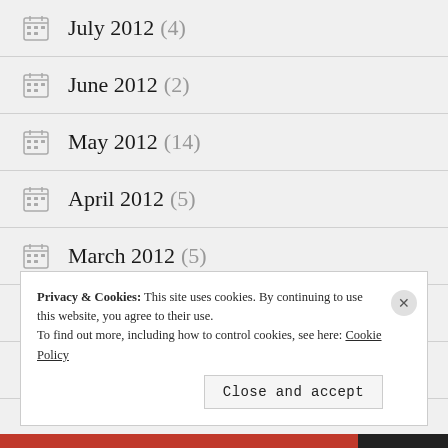July 2012 (4)
June 2012 (2)
May 2012 (14)
April 2012 (5)
March 2012 (5)
February 2012 (9)
January 2012 (1)
Privacy & Cookies: This site uses cookies. By continuing to use this website, you agree to their use.
To find out more, including how to control cookies, see here: Cookie Policy
Close and accept